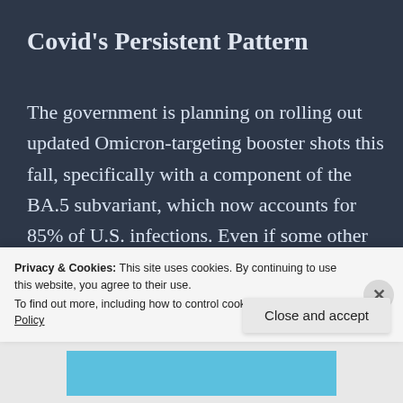Covid’s Persistent Pattern
The government is planning on rolling out updated Omicron-targeting booster shots this fall, specifically with a component of the BA.5 subvariant, which now accounts for 85% of U.S. infections. Even if some other Omicron sublineage becomes dominant by then, the shots could be a
Privacy & Cookies: This site uses cookies. By continuing to use this website, you agree to their use.
To find out more, including how to control cookies, see here: Cookie Policy
Close and accept